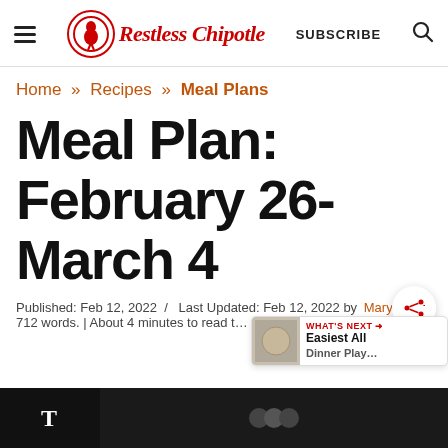Restless Chipotle — SUBSCRIBE
Home » Recipes » Meal Plans
Meal Plan: February 26-March 4
Published: Feb 12, 2022  /  Last Updated: Feb 12, 2022 by Marye  /  712 words. | About 4 minutes to read t…
[Figure (other): What's Next banner: Easiest All Dinner Play...]
[Figure (photo): Dark bottom strip with partial food image]